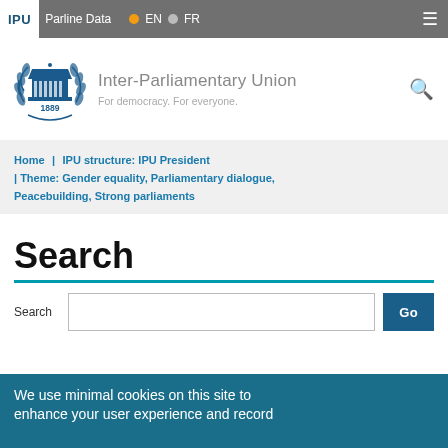IPU | Parline Data | EN | FR
[Figure (logo): Inter-Parliamentary Union logo with laurel wreath and building, 1889]
Inter-Parliamentary Union
For democracy. For everyone.
Home | IPU structure: IPU President | Theme: Gender equality, Parliamentary dialogue, Peacebuilding, Strong parliaments
Search
Search [input field] Go
We use minimal cookies on this site to enhance your user experience and record